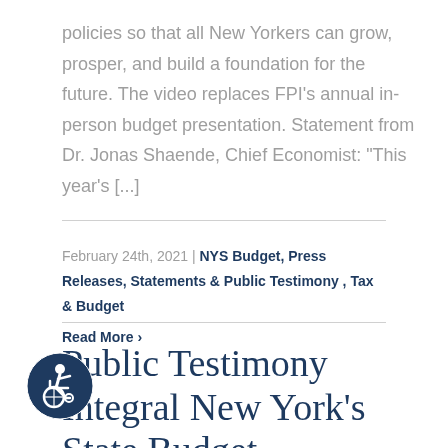policies so that all New Yorkers can grow, prosper, and build a foundation for the future. The video replaces FPI's annual in-person budget presentation. Statement from Dr. Jonas Shaende, Chief Economist: “This year’s [...]
February 24th, 2021 | NYS Budget, Press Releases, Statements & Public Testimony , Tax & Budget
Read More ›
Public Testimony Integral New York’s State Budget